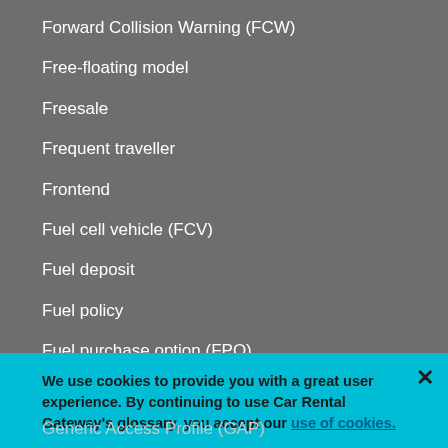Forward Collision Warning (FCW)
Free-floating model
Freesale
Frequent traveller
Frontend
Fuel cell vehicle (FCV)
Fuel deposit
Fuel policy
Fuel purchase option (FPO)
Full prepayment
We use cookies to provide you with a great user experience. By continuing to use Car Rental Gateway’s glossary, you accept our use of cookies.
Generic Access Profile (GAP)